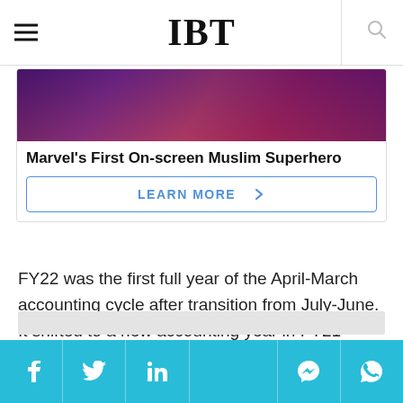IBT
[Figure (photo): Photo of Marvel's First On-screen Muslim Superhero — colorful costume scene with purple and red tones]
Marvel's First On-screen Muslim Superhero
LEARN MORE >
FY22 was the first full year of the April-March accounting cycle after transition from July-June. It shifted to a new accounting year in FY21 which was for nine months ended March 2021.
Social share bar: Facebook, Twitter, LinkedIn, Messenger, WhatsApp